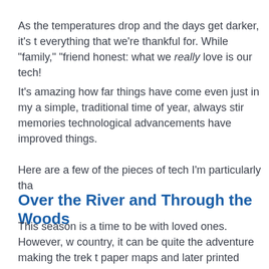As the temperatures drop and the days get darker, it's t everything that we're thankful for. While "family," "friend honest: what we really love is our tech!
It's amazing how far things have come even just in my a simple, traditional time of year, always stir memories technological advancements have improved things.
Here are a few of the pieces of tech I'm particularly tha
Over the River and Through the Woods
This season is a time to be with loved ones. However, w country, it can be quite the adventure making the trek t paper maps and later printed directions, and I frankly m of my holidays as a child hopelessly lost.
That's why the first tech I'm thankful for this year is the the country, I'm secure in the knowledge that my smart "Turn Left Now" without a single complaint.